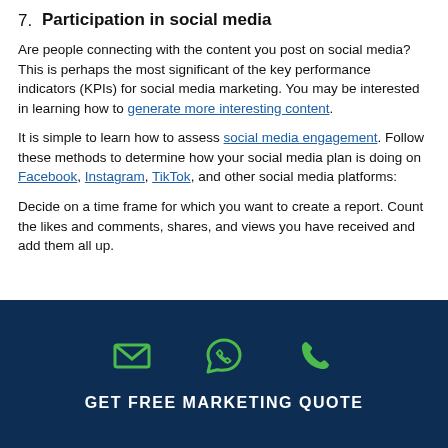7. Participation in social media
Are people connecting with the content you post on social media? This is perhaps the most significant of the key performance indicators (KPIs) for social media marketing. You may be interested in learning how to generate more interesting content.
It is simple to learn how to assess social media engagement. Follow these methods to determine how your social media plan is doing on Facebook, Instagram, TikTok, and other social media platforms:
Decide on a time frame for which you want to create a report. Count the likes and comments, shares, and views you have received and add them all up.
[Figure (infographic): Dark navy footer bar with three green icons (email envelope, WhatsApp/chat bubble, phone handset) and text 'GET FREE MARKETING QUOTE']